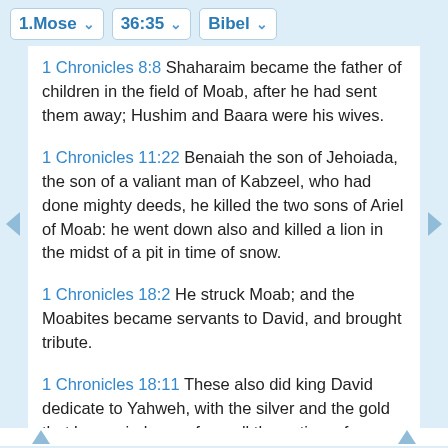1.Mose   36:35   Bibel
1 Chronicles 8:8 Shaharaim became the father of children in the field of Moab, after he had sent them away; Hushim and Baara were his wives.
1 Chronicles 11:22 Benaiah the son of Jehoiada, the son of a valiant man of Kabzeel, who had done mighty deeds, he killed the two sons of Ariel of Moab: he went down also and killed a lion in the midst of a pit in time of snow.
1 Chronicles 18:2 He struck Moab; and the Moabites became servants to David, and brought tribute.
1 Chronicles 18:11 These also did king David dedicate to Yahweh, with the silver and the gold that he carried away from all the nations; from Edom, and from Moab, and from the children of Ammon,